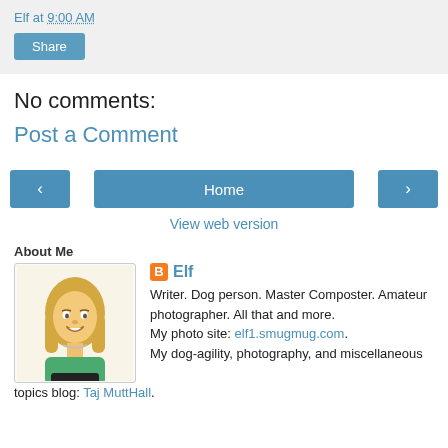Elf at 9:00 AM
Share
No comments:
Post a Comment
< Home >
View web version
About Me
[Figure (illustration): Cartoon avatar of a woman with blonde hair wearing a green top]
Elf
Writer. Dog person. Master Composter. Amateur photographer. All that and more.
My photo site: elf1.smugmug.com.
My dog-agility, photography, and miscellaneous topics blog: Taj MuttHall.